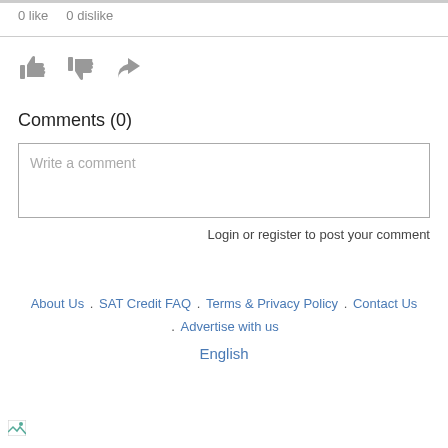0 like   0 dislike
[Figure (illustration): Thumbs up icon, thumbs down icon, and share/forward arrow icon in gray]
Comments (0)
Write a comment
Login or register to post your comment
About Us . SAT Credit FAQ . Terms & Privacy Policy . Contact Us . Advertise with us
English
[Figure (illustration): Broken image icon in bottom left corner]